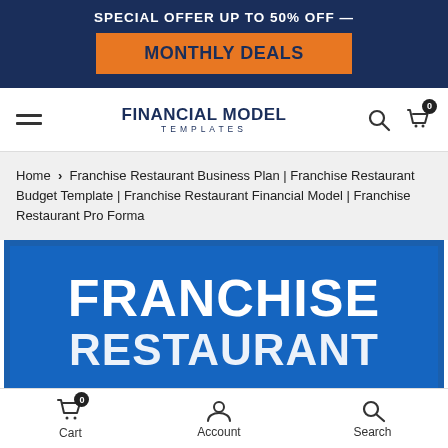SPECIAL OFFER UP TO 50% OFF — MONTHLY DEALS
[Figure (logo): Financial Model Templates logo with hamburger menu, search icon and cart icon showing 0 items]
Home › Franchise Restaurant Business Plan | Franchise Restaurant Budget Template | Franchise Restaurant Financial Model | Franchise Restaurant Pro Forma
[Figure (illustration): Blue banner image showing large white bold text: FRANCHISE RESTAURANT]
Cart 0  Account  Search